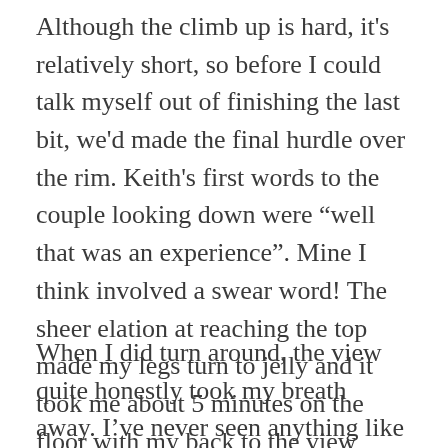Although the climb up is hard, it's relatively short, so before I could talk myself out of finishing the last bit, we'd made the final hurdle over the rim. Keith's first words to the couple looking down were “well that was an experience”. Mine I think involved a swear word! The sheer elation at reaching the top made my legs turn to jelly and it took me about 5 minutes on the floor with my back to the view before I even turned round!
When I did turn around, the view quite honestly took my breath away. I’ve never seen anything like it in the UK, it’s